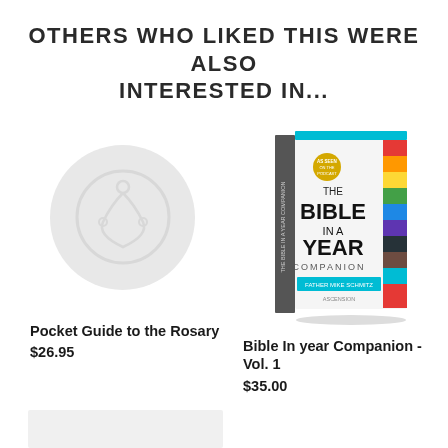OTHERS WHO LIKED THIS WERE ALSO INTERESTED IN...
[Figure (photo): Placeholder image for Pocket Guide to the Rosary - grey circle with rosary silhouette]
Pocket Guide to the Rosary
$26.95
[Figure (photo): Book cover: The Bible In A Year Companion with colorful spine and white cover]
Bible In year Companion - Vol. 1
$35.00